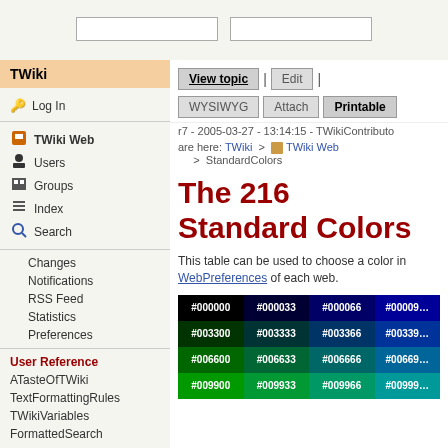[search boxes]
TWiki
Log In
TWiki Web
Users
Groups
Index
Search
Changes
Notifications
RSS Feed
Statistics
Preferences
User Reference
ATasteOfTWiki
TextFormattingRules
TWikiVariables
FormattedSearch
View topic | Edit | WYSIWYG | Attach | Printable
r7 - 2005-03-27 - 13:14:15 - TWikiContributo
are here: TWiki > TWiki Web > StandardColors
The 216 Standard Colors
This table can be used to choose a color in WebPreferences of each web.
| #000000 | #000033 | #000066 | #00009... |
| --- | --- | --- | --- |
| #003300 | #003333 | #003366 | #00339... |
| #006600 | #006633 | #006666 | #00669... |
| #009900 | #009933 | #009966 | #00999... |